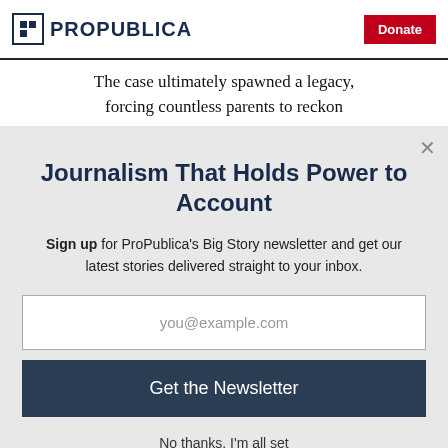ProPublica | Donate
The case ultimately spawned a legacy, forcing countless parents to reckon
Journalism That Holds Power to Account
Sign up for ProPublica's Big Story newsletter and get our latest stories delivered straight to your inbox.
you@example.com
Get the Newsletter
No thanks, I'm all set
This site is protected by reCAPTCHA and the Google Privacy Policy and Terms of Service apply.